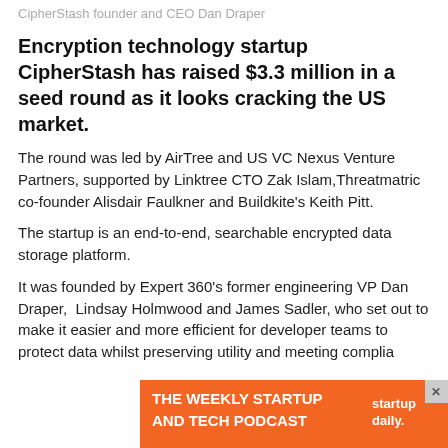CipherStash founder and CEO Dan Draper
Encryption technology startup CipherStash has raised $3.3 million in a seed round as it looks cracking the US market.
The round was led by AirTree and US VC Nexus Venture Partners, supported by Linktree CTO Zak Islam,Threatmatric co-founder Alisdair Faulkner and Buildkite's Keith Pitt.
The startup is an end-to-end, searchable encrypted data storage platform.
It was founded by Expert 360's former engineering VP Dan Draper,  Lindsay Holmwood and James Sadler, who set out to make it easier and more efficient for developer teams to protect data whilst preserving utility and meeting complia
[Figure (infographic): Orange advertisement banner reading 'THE WEEKLY STARTUP AND TECH PODCAST' with 'startup daily.' branding on the right and a close X button]